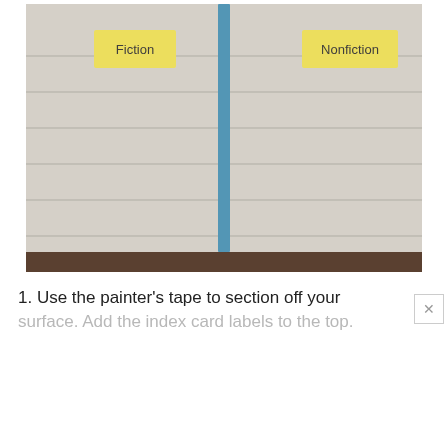[Figure (photo): A whiteboard or large flat surface divided into two sections by a vertical strip of blue painter's tape running down the center. A yellow sticky note on the left reads 'Fiction' and another yellow sticky note on the right reads 'Nonfiction'. The surface has horizontal ruled lines. The background below the board is a dark brown carpet.]
1. Use the painter's tape to section off your surface. Add the index card labels to the top.